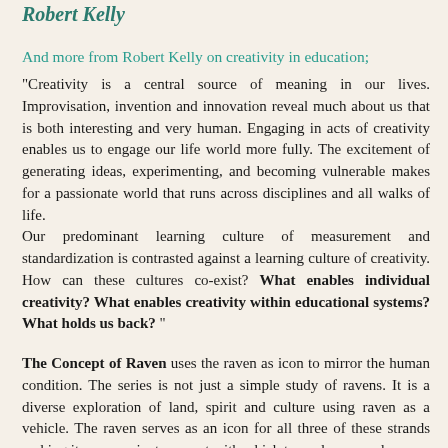Robert Kelly
And more from Robert Kelly on creativity in education;
"Creativity is a central source of meaning in our lives. Improvisation, invention and innovation reveal much about us that is both interesting and very human. Engaging in acts of creativity enables us to engage our life world more fully. The excitement of generating ideas, experimenting, and becoming vulnerable makes for a passionate world that runs across disciplines and all walks of life.
Our predominant learning culture of measurement and standardization is contrasted against a learning culture of creativity. How can these cultures co-exist? What enables individual creativity? What enables creativity within educational systems? What holds us back? "
The Concept of Raven uses the raven as icon to mirror the human condition. The series is not just a simple study of ravens. It is a diverse exploration of land, spirit and culture using raven as a vehicle. The raven serves as an icon for all three of these strands making it a convenient concept with which to explore ourselves.